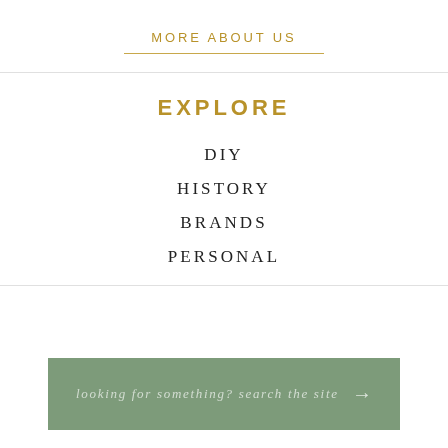MORE ABOUT US
EXPLORE
DIY
HISTORY
BRANDS
PERSONAL
looking for something? search the site →